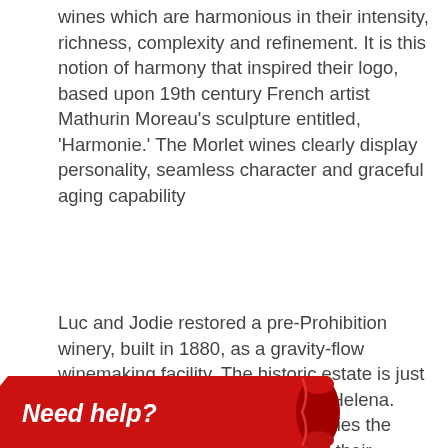wines which are harmonious in their intensity, richness, complexity and refinement. It is this notion of harmony that inspired their logo, based upon 19th century French artist Mathurin Moreau's sculpture entitled, 'Harmonie.' The Morlet wines clearly display personality, seamless character and graceful aging capability
Luc and Jodie restored a pre-Prohibition winery, built in 1880, as a gravity-flow winemaking facility. The historic estate is just north of the charming town of St. Helena. This 6-acre hillside vineyard supplies the premium Cabernet Sauvignon for their 'Morlet Estate' label, designated as the prestigious St. Helena Appellation. The highly acclaimed 'Force de la Nature' and 'Cœur de Vallée' wines hail from Luc and Jodie's Cabernet Franc and Cabernet Sauvignon vineyard, situated in the world-renowned Oakville appellation and bordering the To Kalon Creek
On the foothills facing the western slopes of Mount St. Helena, Jodie's Knights Valley vineyard provides grapes for their 'Mon Chevalier' Cabernet Sauvignon. The cool climate is ideal for the long ripening of the
[Figure (other): Red 'Need help?' banner button with scroll decoration in the bottom-left corner]